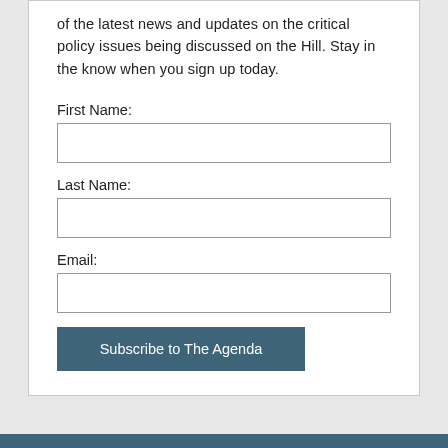of the latest news and updates on the critical policy issues being discussed on the Hill. Stay in the know when you sign up today.
First Name:
Last Name:
Email:
Subscribe to The Agenda